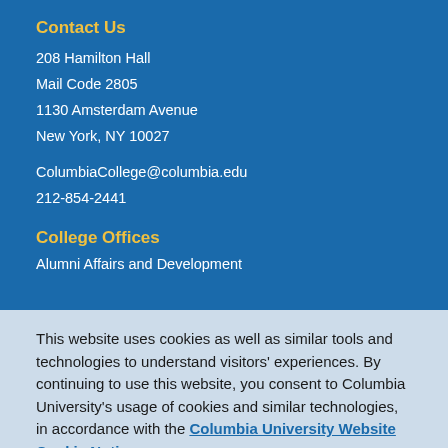Contact Us
208 Hamilton Hall
Mail Code 2805
1130 Amsterdam Avenue
New York, NY 10027
ColumbiaCollege@columbia.edu
212-854-2441
College Offices
Alumni Affairs and Development
This website uses cookies as well as similar tools and technologies to understand visitors' experiences. By continuing to use this website, you consent to Columbia University's usage of cookies and similar technologies, in accordance with the Columbia University Website Cookie Notice